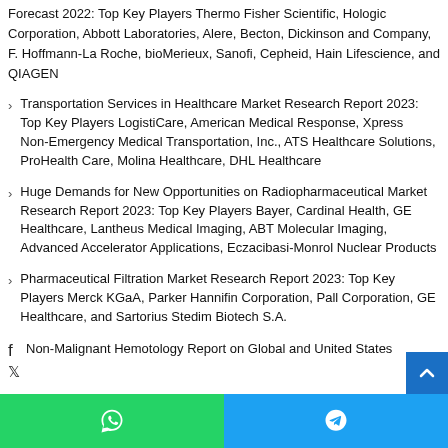Forecast 2022: Top Key Players Thermo Fisher Scientific, Hologic Corporation, Abbott Laboratories, Alere, Becton, Dickinson and Company, F. Hoffmann-La Roche, bioMerieux, Sanofi, Cepheid, Hain Lifescience, and QIAGEN
Transportation Services in Healthcare Market Research Report 2023: Top Key Players LogistiCare, American Medical Response, Xpress Non-Emergency Medical Transportation, Inc., ATS Healthcare Solutions, ProHealth Care, Molina Healthcare, DHL Healthcare
Huge Demands for New Opportunities on Radiopharmaceutical Market Research Report 2023: Top Key Players Bayer, Cardinal Health, GE Healthcare, Lantheus Medical Imaging, ABT Molecular Imaging, Advanced Accelerator Applications, Eczacibasi-Monrol Nuclear Products
Pharmaceutical Filtration Market Research Report 2023: Top Key Players Merck KGaA, Parker Hannifin Corporation, Pall Corporation, GE Healthcare, and Sartorius Stedim Biotech S.A.
Non-Malignant Hemotology Report on Global and United States